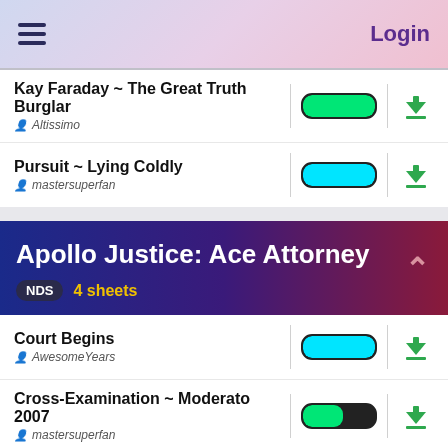Login
Kay Faraday ~ The Great Truth Burglar
Altissimo
Pursuit ~ Lying Coldly
mastersuperfan
Apollo Justice: Ace Attorney
NDS 4 sheets
Court Begins
AwesomeYears
Cross-Examination ~ Moderato 2007
mastersuperfan
Telling the Truth 2007
mastersuperfan
Troupe Gramarye
mastersuperfan